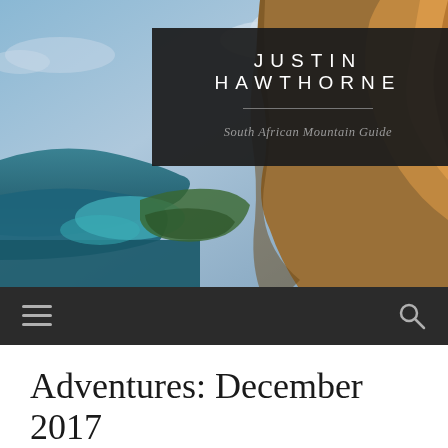[Figure (photo): Aerial coastal photograph showing rocky cliffs on the right, turquoise ocean water and blue sky with clouds, serving as the blog header background image.]
JUSTIN HAWTHORNE
South African Mountain Guide
[Figure (other): Dark navigation bar with hamburger menu icon on left and search icon on right.]
Adventures: December 2017
JANUARY 7, 2018 / JUSTINHAWTHORNE